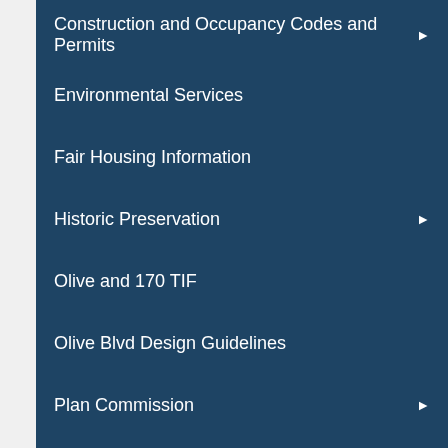Construction and Occupancy Codes and Permits
Environmental Services
Fair Housing Information
Historic Preservation
Olive and 170 TIF
Olive Blvd Design Guidelines
Plan Commission
Police Facility Space Needs Analysis